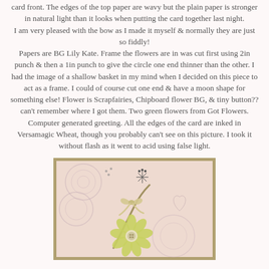card front. The edges of the top paper are wavy but the plain paper is stronger in natural light than it looks when putting the card together last night.
I am very pleased with the bow as I made it myself & normally they are just so fiddly!
Papers are BG Lily Kate. Frame the flowers are in was cut first using 2in punch & then a 1in punch to give the circle one end thinner than the other. I had the image of a shallow basket in my mind when I decided on this piece to act as a frame. I could of course cut one end & have a moon shape for something else! Flower is Scrapfairies, Chipboard flower BG, & tiny button?? can't remember where I got them. Two green flowers from Got Flowers. Computer generated greeting. All the edges of the card are inked in Versamagic Wheat, though you probably can't see on this picture. I took it without flash as it went to acid using false light.
[Figure (photo): A scrapbook card photo showing a pink/cream patterned paper background with floral designs, a ribbon bow, and a yellow flower embellishment with a button center.]